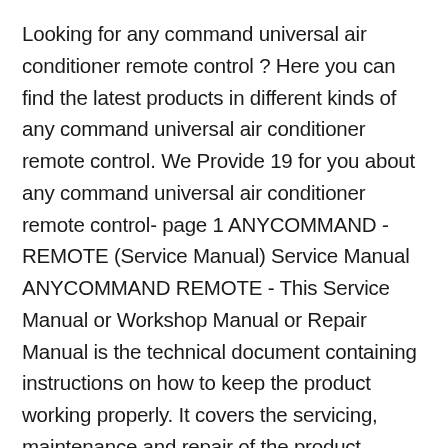Looking for any command universal air conditioner remote control ? Here you can find the latest products in different kinds of any command universal air conditioner remote control. We Provide 19 for you about any command universal air conditioner remote control- page 1 ANYCOMMAND - REMOTE (Service Manual) Service Manual ANYCOMMAND REMOTE - This Service Manual or Workshop Manual or Repair Manual is the technical document containing instructions on how to keep the product working properly. It covers the servicing, maintenance and repair of the product. Schematics and illustrated parts list can also be included.